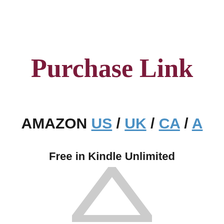Purchase Link
AMAZON US / UK / CA / A
Free in Kindle Unlimited
[Figure (illustration): Light grey upward-pointing arrow/chevron shape at bottom center of page, partially cropped]